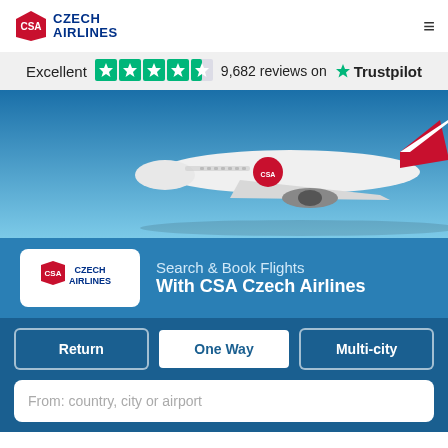[Figure (logo): CSA Czech Airlines logo in header]
Excellent  9,682 reviews on  Trustpilot
[Figure (photo): CSA Czech Airlines Boeing aircraft in flight against blue sky]
[Figure (logo): CSA Czech Airlines logo in booking section]
Search & Book Flights
With CSA Czech Airlines
Return
One Way
Multi-city
From: country, city or airport